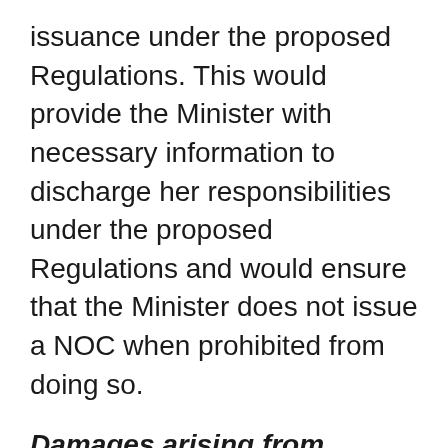issuance under the proposed Regulations. This would provide the Minister with necessary information to discharge her responsibilities under the proposed Regulations and would ensure that the Minister does not issue a NOC when prohibited from doing so.
Damages arising from delayed generic market entry
As before, the proposed Regulations would allow a second person to seek compensation for losses suffered during the period they were kept off the market as